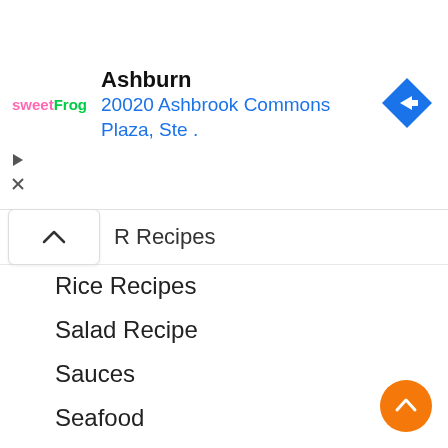[Figure (other): Ad banner for sweetFrog at 20020 Ashbrook Commons Plaza, Ste, Ashburn, with navigation icon]
R Recipes
Rice Recipes
Salad Recipe
Sauces
Seafood
Snacks
Soup Recipes
Uncategorized
Vegan